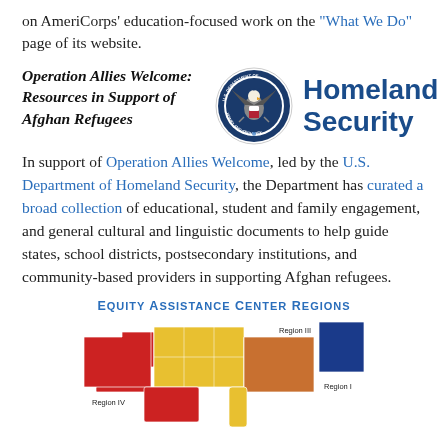on AmeriCorps' education-focused work on the "What We Do" page of its website.
Operation Allies Welcome: Resources in Support of Afghan Refugees
[Figure (logo): DHS (Department of Homeland Security) seal and Homeland Security text logo]
In support of Operation Allies Welcome, led by the U.S. Department of Homeland Security, the Department has curated a broad collection of educational, student and family engagement, and general cultural and linguistic documents to help guide states, school districts, postsecondary institutions, and community-based providers in supporting Afghan refugees.
EQUITY ASSISTANCE CENTER REGIONS
[Figure (map): Partial map of the United States showing Equity Assistance Center Regions colored in red, yellow/gold, and blue. Region IV is labeled on the left (red), Region III is in the upper right area (yellow/gold), and Region I is at the far right (blue).]